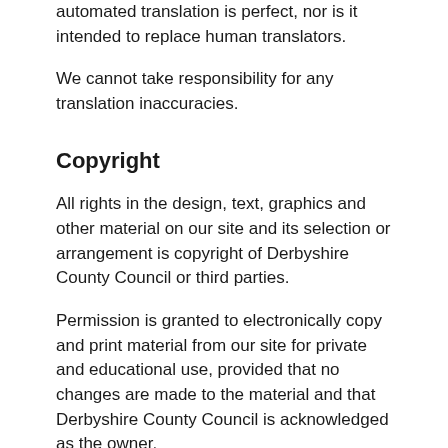automated translation is perfect, nor is it intended to replace human translators.
We cannot take responsibility for any translation inaccuracies.
Copyright
All rights in the design, text, graphics and other material on our site and its selection or arrangement is copyright of Derbyshire County Council or third parties.
Permission is granted to electronically copy and print material from our site for private and educational use, provided that no changes are made to the material and that Derbyshire County Council is acknowledged as the owner.
Any other use of the materials on our site without our prior written permission is strictly prohibited.